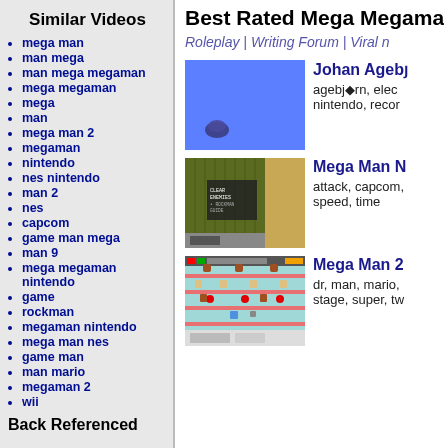Similar Videos
mega man
man mega
man mega megaman
mega megaman
mega
man
mega man 2
megaman
nintendo
nes nintendo
man 2
nes
capcom
game man mega
man 9
mega megaman nintendo
game
rockman
megaman nintendo
mega man nes
game man
man mario
megaman 2
wii
Back Referenced
Best Rated Mega Megaman Nin
Roleplay | Writing Forum | Viral n
[Figure (screenshot): Blue game screen with small character/object near bottom left]
Johan Ageby
agebjorn, electronic, nintendo, recor
[Figure (screenshot): Retro video game screen showing a stage with text menu overlay]
Mega Man N
attack, capcom, speed, time
[Figure (screenshot): Colorful game screen with multiple character sprites on platforms]
Mega Man 2
dr, man, mario, stage, super, tw